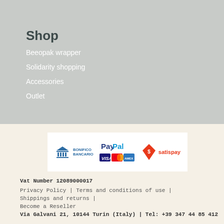Shop
Beeopak wrapper
Solidarity shopping
Accessories
Outlet
[Figure (logo): Payment methods: Bonifico Bancario (bank transfer icon), PayPal with Visa/Mastercard/Amex logos, Satispay logo]
Vat Number 12089000017
Privacy Policy | Terms and conditions of use |
Shippings and returns |
Become a Reseller
Via Galvani 21, 10144 Turin (Italy) | Tel: +39 347 44 85 412